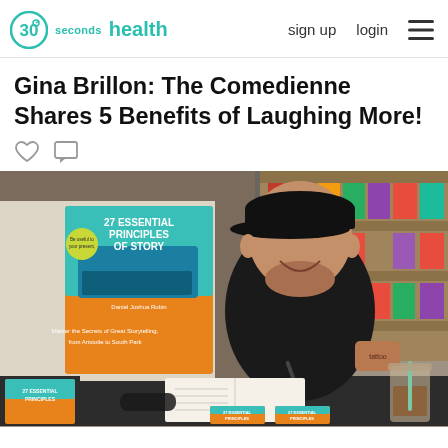30seconds health — sign up  login
Gina Brillon: The Comedienne Shares 5 Benefits of Laughing More!
[Figure (photo): A man in a black cap and black t-shirt sitting at a table in a bookstore, smiling, holding a pen, with copies of the book '27 Essential Principles of Story' by Daniel Joshua Rubin on display beside him. An iced coffee drink is visible on the table.]